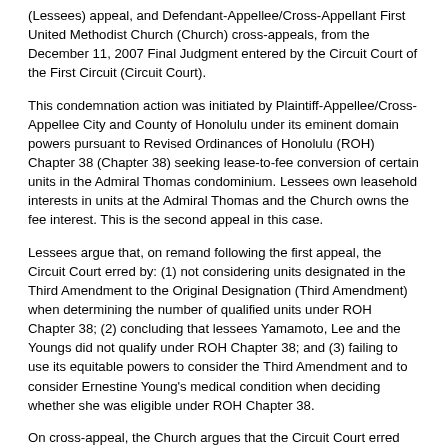(Lessees) appeal, and Defendant-Appellee/Cross-Appellant First United Methodist Church (Church) cross-appeals, from the December 11, 2007 Final Judgment entered by the Circuit Court of the First Circuit (Circuit Court).
This condemnation action was initiated by Plaintiff-Appellee/Cross-Appellee City and County of Honolulu under its eminent domain powers pursuant to Revised Ordinances of Honolulu (ROH) Chapter 38 (Chapter 38) seeking lease-to-fee conversion of certain units in the Admiral Thomas condominium. Lessees own leasehold interests in units at the Admiral Thomas and the Church owns the fee interest. This is the second appeal in this case.
Lessees argue that, on remand following the first appeal, the Circuit Court erred by: (1) not considering units designated in the Third Amendment to the Original Designation (Third Amendment) when determining the number of qualified units under ROH Chapter 38; (2) concluding that lessees Yamamoto, Lee and the Youngs did not qualify under ROH Chapter 38; and (3) failing to use its equitable powers to consider the Third Amendment and to consider Ernestine Young's medical condition when deciding whether she was eligible under ROH Chapter 38.
On cross-appeal, the Church argues that the Circuit Court erred by: